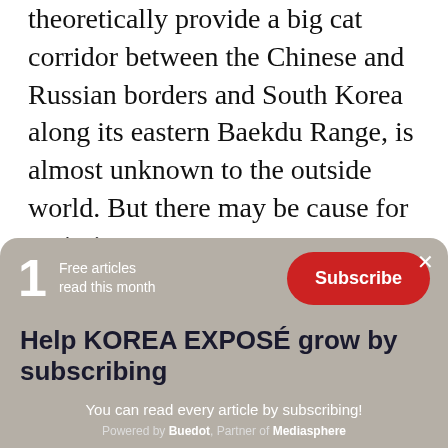theoretically provide a big cat corridor between the Chinese and Russian borders and South Korea along its eastern Baekdu Range, is almost unknown to the outside world. But there may be cause for optimism.
“The Baekdu mountain system and most mountains in North Korea are in a pristine
[Figure (screenshot): Paywall overlay with '1 Free articles read this month', a red Subscribe button, close X, headline 'Help KOREA EXPOSÉ grow by subscribing', subtext 'You can read every article by subscribing!', and footer 'Powered by Buedot, Partner of Mediasphere']